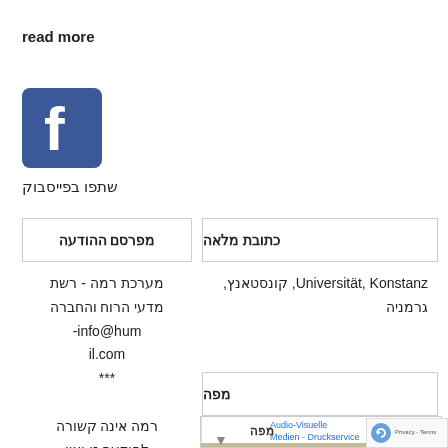read more
[Figure (logo): Facebook logo icon, blue square with white 'f']
שתפו בפייסבוק
מפרסם ההודעה
כתובת מלאה
מערכת רמה - רשת
מדעי הרוח והחברה
info@hum-il.com
***
רמה אינה קשורה
להודעה זו ואין
בידוק מידע נוסף
Universität, Konstanz, קונסטאנץ,
גרמניה
מפה
[Figure (map): Map view tabs showing מפה and לוויין, with partial map and Audio-Visuelle Medien - Druckservice label visible]
[Figure (other): reCAPTCHA widget with Privacy - Terms text]